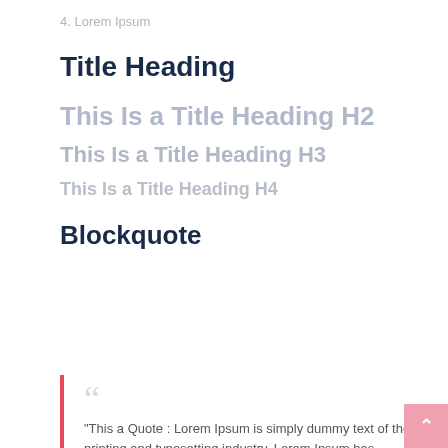4.  Lorem Ipsum
Title Heading
This Is a Title Heading H2
This Is a Title Heading H3
This Is a Title Heading H4
Blockquote
"This a Quote : Lorem Ipsum is simply dummy text of the printing and typesetting industry. Lorem Ipsum has